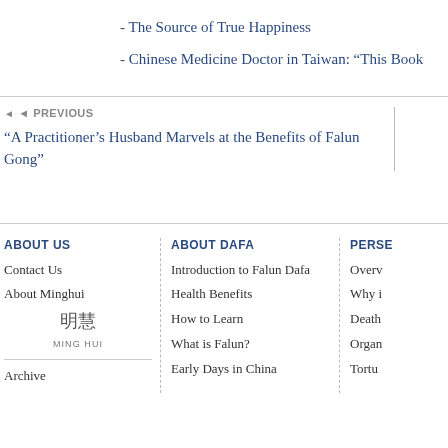- The Source of True Happiness
- Chinese Medicine Doctor in Taiwan: “This Book…
◄ PREVIOUS
“A Practitioner’s Husband Marvels at the Benefits of Falun Gong”
ABOUT US
Contact Us
About Minghui
[Figure (logo): Ming Hui logo with Chinese characters 明慧 and text MING HUI below]
Archive
ABOUT DAFA
Introduction to Falun Dafa
Health Benefits
How to Learn
What is Falun?
Early Days in China
PERSE…
Overv…
Why i…
Death…
Organ…
Tortu…